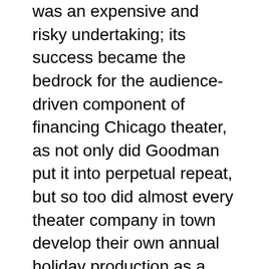was an expensive and risky undertaking; its success became the bedrock for the audience-driven component of financing Chicago theater, as not only did Goodman put it into perpetual repeat, but so too did almost every theater company in town develop their own annual holiday production as a box-office sure thing.
Though those of us who, for personal or professional reasons, see the show many times over might be inclined to obsess over what ultimately minor shifts in staging and casting invariably take place over time, the reality is that Goodman has this one down to a science, especially under the helm of stalwart director Steve Scott. And especially with Larry Yando